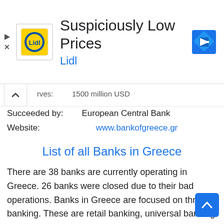[Figure (other): Lidl advertisement banner with logo, title 'Suspiciously Low Prices', subtitle 'Lidl', and navigation arrow icon. Play and close (X) icons on left.]
rves:  1500 million USD
Succeeded by:  European Central Bank
Website:  www.bankofgreece.gr
List of all Banks in Greece
There are 38 banks are currently operating in Greece. 26 banks were closed due to their bad operations. Banks in Greece are focused on three banking. These are retail banking, universal banking and co-operative banking.
Central bank